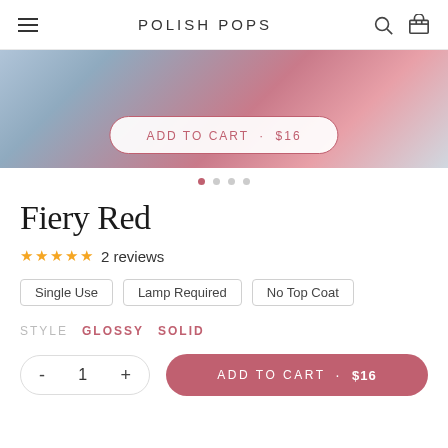POLISH POPS
[Figure (photo): Blurred product image with blue and red/pink tones, partially visible at top of page]
ADD TO CART · $16
● ○ ○ ○ (carousel dots)
Fiery Red
★★★★★ 2 reviews
Single Use
Lamp Required
No Top Coat
STYLE  GLOSSY  SOLID
- 1 +  ADD TO CART · $16